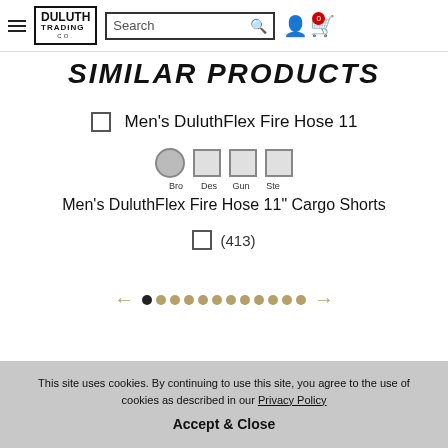Duluth Trading Co. — Search bar — User account — Cart (0)
SIMILAR PRODUCTS
Men's DuluthFlex Fire Hose 11
[Figure (other): Color swatch row: circle (Bro), square (Des), square (Gur), square (Ste)]
Men's DuluthFlex Fire Hose 11" Cargo Shorts
(413)
[Figure (other): Carousel navigation: left arrow, 12 dots (first dot filled black, rest tan/gold), right arrow]
This site uses cookies. By continuing to use this site, you agree to the use of cookies as described in our Privacy Policy
Accept & Close